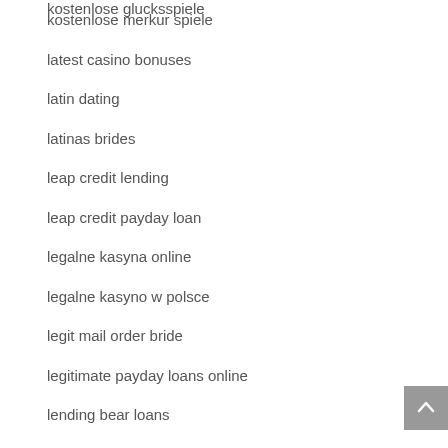kostenlose glucksspiele
kostenlose merkur spiele
latest casino bonuses
latin dating
latinas brides
leap credit lending
leap credit payday loan
legalne kasyna online
legalne kasyno w polsce
legit mail order bride
legitimate payday loans online
lending bear loans
lending bear payday loan
lista bukmacherow i ranking
loan 1000